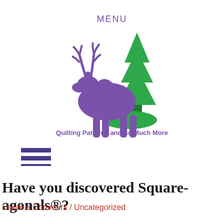MENU
[Figure (logo): Purple moose silhouette with green pine trees behind it, with text 'Quilting Patterns and So Much More' below in purple bold font]
[Figure (other): Three horizontal purple lines forming a hamburger/menu icon]
Have you discovered Square-agonals®?
Leave a Comment / Uncategorized